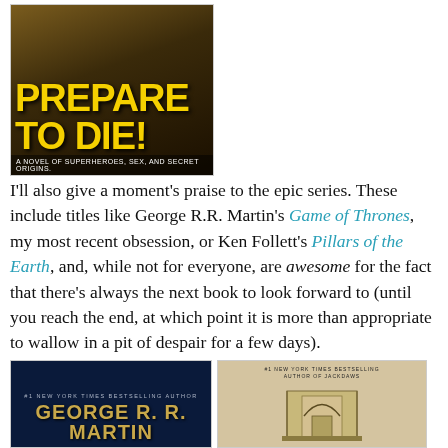[Figure (photo): Book cover of 'Prepare to Die!' — a novel of superheroes, sex, and secret origins. Yellow bold text on dark background.]
I'll also give a moment's praise to the epic series. These include titles like George R.R. Martin's Game of Thrones, my most recent obsession, or Ken Follett's Pillars of the Earth, and, while not for everyone, are awesome for the fact that there's always the next book to look forward to (until you reach the end, at which point it is more than appropriate to wallow in a pit of despair for a few days).
[Figure (photo): Book cover of George R.R. Martin's Game of Thrones — dark blue background with author name in gold text.]
[Figure (photo): Book cover of Ken Follett's Pillars of the Earth — beige/parchment background with gothic arch illustration.]